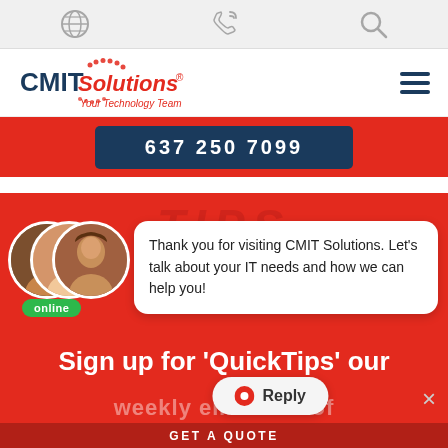Navigation icons: globe, phone, search
[Figure (logo): CMIT Solutions logo — Your Technology Team, with hamburger menu icon]
[Figure (screenshot): Red banner with dark blue phone number button showing partially visible number ending in 7099]
[Figure (screenshot): Red section with TIPS heading, chat popup showing three team member avatars labeled online, chat bubble text: Thank you for visiting CMIT Solutions. Let's talk about your IT needs and how we can help you!, Sign up for QuickTips our weekly email full of text, GET A QUOTE bar, Reply button, X close button]